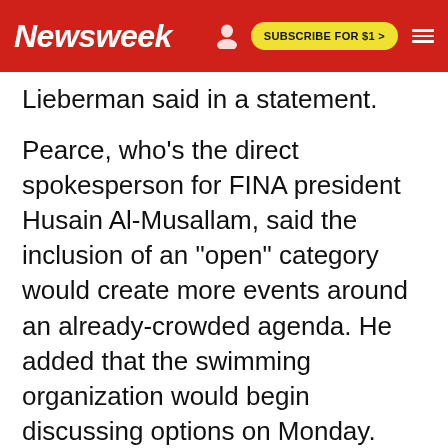Newsweek | SUBSCRIBE FOR $1 >
Lieberman said in a statement.
Pearce, who's the direct spokesperson for FINA president Husain Al-Musallam, said the inclusion of an "open" category would create more events around an already-crowded agenda. He added that the swimming organization would begin discussing options on Monday.